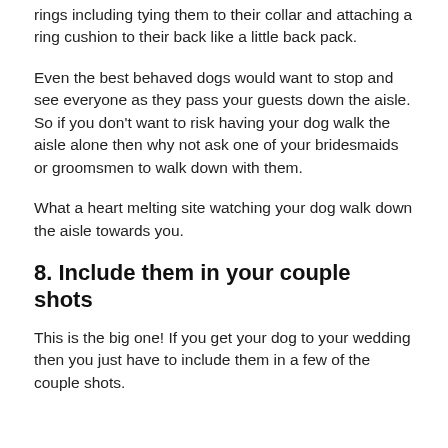rings including tying them to their collar and attaching a ring cushion to their back like a little back pack.
Even the best behaved dogs would want to stop and see everyone as they pass your guests down the aisle. So if you don't want to risk having your dog walk the aisle alone then why not ask one of your bridesmaids or groomsmen to walk down with them.
What a heart melting site watching your dog walk down the aisle towards you.
8. Include them in your couple shots
This is the big one! If you get your dog to your wedding then you just have to include them in a few of the couple shots.